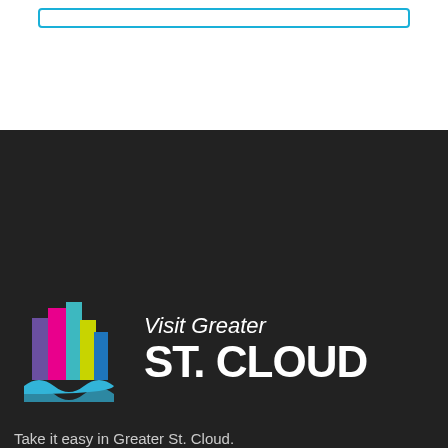[Figure (logo): Blue rounded rectangle border at top of page]
[Figure (logo): Visit Greater ST. CLOUD logo with colorful building/wave icon on dark background]
Take it easy in Greater St. Cloud.
[Figure (other): Social media icons: Facebook, Twitter, LinkedIn, Instagram]